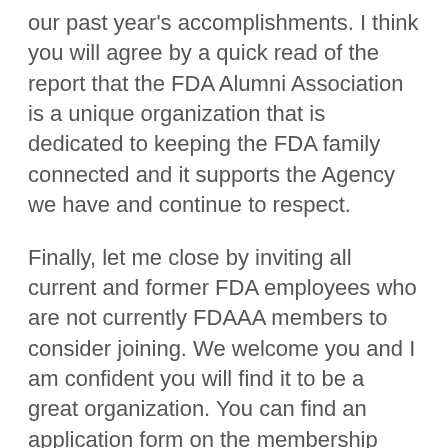our past year's accomplishments. I think you will agree by a quick read of the report that the FDA Alumni Association is a unique organization that is dedicated to keeping the FDA family connected and it supports the Agency we have and continue to respect.
Finally, let me close by inviting all current and former FDA employees who are not currently FDAAA members to consider joining. We welcome you and I am confident you will find it to be a great organization. You can find an application form on the membership page of our website (www.fdaaa.org). Sign up. You will be glad you did!
Edward A. Steele
FDAAA President